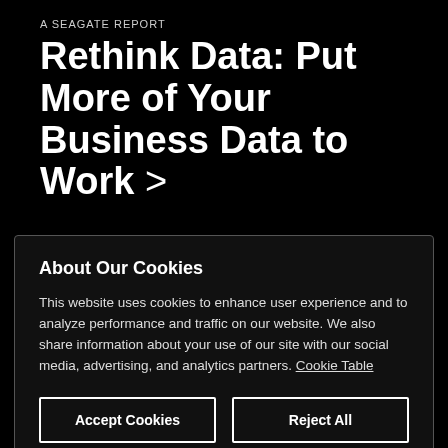A SEAGATE REPORT
Rethink Data: Put More of Your Business Data to Work >
About Seagate
Support
Our Story
Product Support
About Our Cookies
This website uses cookies to enhance user experience and to analyze performance and traffic on our website. We also share information about your use of our site with our social media, advertising, and analytics partners. Cookie Table
Accept Cookies
Reject All
Cookies Settings